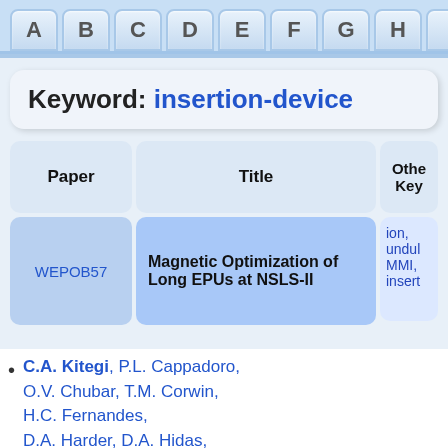A B C D E F G H I K L
Keyword: insertion-device
| Paper | Title | Other Key... |
| --- | --- | --- |
| WEPOB57 | Magnetic Optimization of Long EPUs at NSLS-II | ion, undul..., MMI, insert... |
C.A. Kitegi, P.L. Cappadoro, O.V. Chubar, T.M. Corwin, H.C. Fernandes, D.A. Harder, D.A. Hidas, W. Licciardi, M. Musardo, J. Rank, C. Rhein, T. Tanabe BNL, Upton, Long Island